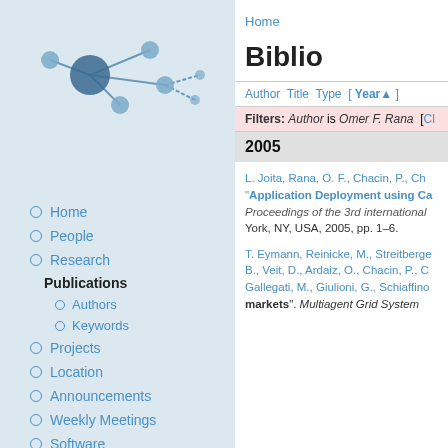[Figure (logo): Network graph logo for Distributed Systems Group]
Distributed Systems Gr
Home
Home
People
Research
Publications
Authors
Keywords
Projects
Location
Announcements
Weekly Meetings
Software
Former Members
Biblio
Author Title Type [ Year▲ ]
Filters: Author is Omer F. Rana [Cl
2005
L. Joita, Rana, O. F., Chacin, P., Ch
"Application Deployment using Ca
Proceedings of the 3rd international
York, NY, USA, 2005, pp. 1–6.
T. Eymann, Reinicke, M., Streitberge B., Veit, D., Ardaiz, O., Chacin, P., C Gallegati, M., Giulioni, G., Schiaffino
markets". Multiagent Grid System